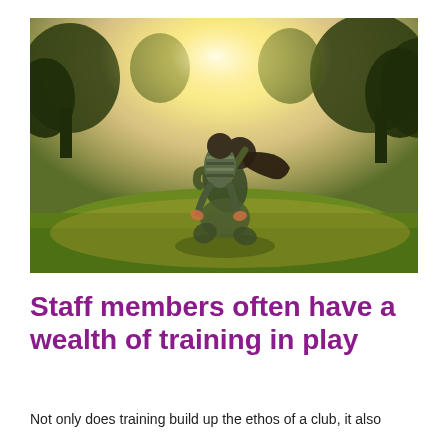[Figure (photo): A woman kneeling on grass in a sunny park, holding a young child on her back in a piggyback position. Bright sunlight glows from behind trees in the background, creating a warm golden-hour atmosphere. The grass is lush and green.]
Staff members often have a wealth of training in play
Not only does training build up the ethos of a club, it also